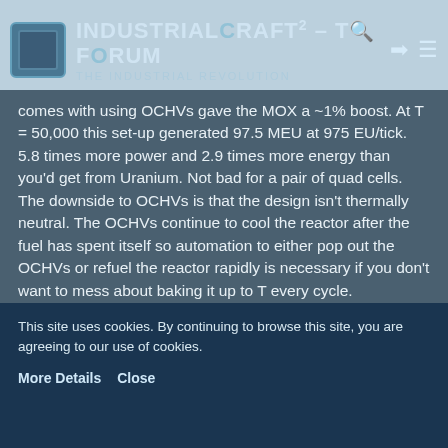IndustrialCraft² - The Forum - The Industrial Revolution
comes with using OCHVs gave the MOX a ~1% boost. At T = 50,000 this set-up generated 97.5 MEU at 975 EU/tick. 5.8 times more power and 2.9 times more energy than you'd get from Uranium. Not bad for a pair of quad cells. The downside to OCHVs is that the design isn't thermally neutral. The OCHVs continue to cool the reactor after the fuel has spent itself so automation to either pop out the OCHVs or refuel the reactor rapidly is necessary if you don't want to mess about baking it up to T every cycle.
The previous design also highlights the fundamental trade-off inherent in MOX fuel. Larger, more efficient cores require more heat vents, allowing less heat capacity plating, lower maximum safe temperatures and lower MOX thermal efficiency. The solution is not to use heat vents but more compact coolant cells or...
This site uses cookies. By continuing to browse this site, you are agreeing to our use of cookies.
More Details   Close